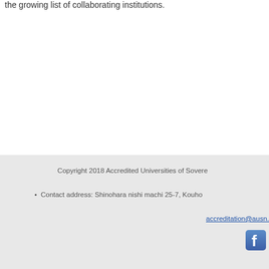the growing list of collaborating institutions.
Copyright 2018 Accredited Universities of Sovereign Nations (AUSN). Contact address: Shinohara nishi machi 25-7, Kouho... accreditation@ausn.
[Figure (logo): Facebook icon/logo]